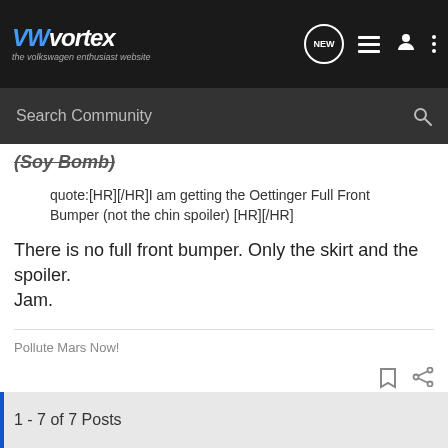VWvortex - the volkswagen enthusiast website
(Soy Bomb)
quote:[HR][/HR]I am getting the Oettinger Full Front Bumper (not the chin spoiler) [HR][/HR]
There is no full front bumper. Only the skirt and the spoiler. Jam.
Pollute Mars Now!
1 - 7 of 7 Posts